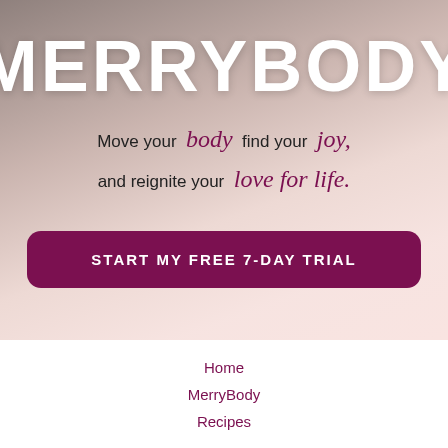MERRYBODY
Move your body, find your joy, and reignite your love for life.
START MY FREE 7-DAY TRIAL
Home
MerryBody
Recipes